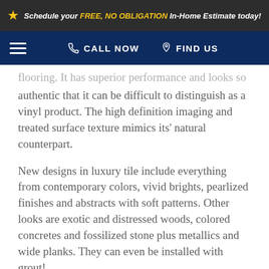Schedule your FREE, NO OBLIGATION In-Home Estimate today!
CALL NOW  FIND US
flooring. It has superior performance and looks so authentic that it can be difficult to distinguish as a vinyl product. The high definition imaging and treated surface texture mimics its' natural counterpart.
New designs in luxury tile include everything from contemporary colors, vivid brights, pearlized finishes and abstracts with soft patterns. Other looks are exotic and distressed woods, colored concretes and fossilized stone plus metallics and wide planks. They can even be installed with grout!
Luxury tile can perform better than wood and stone! Benefits include easier installation, never